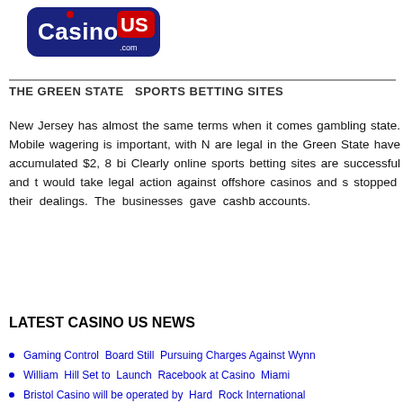[Figure (logo): CasinoUS.com logo — dark navy rounded rectangle with 'Casino' in white bold text and 'US' in red bold text with a small '.com' below, red dot over the 'i' in Casino]
THE GREEN STATE  SPORTS BETTING SITES
New Jersey has almost the same terms when it comes gambling state.  Mobile wagering is important, with N are legal in the Green State have accumulated $2, 8 bi Clearly online sports betting sites are successful and t would take legal action against offshore casinos and s stopped  their  dealings.  The  businesses  gave  cashb accounts.
LATEST CASINO US NEWS
Gaming Control  Board Still  Pursuing Charges Against Wynn
William  Hill Set to  Launch  Racebook at Casino  Miami
Bristol Casino will be operated by  Hard  Rock International